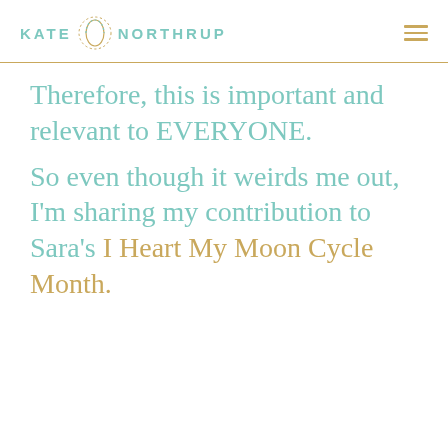KATE NORTHRUP
Therefore, this is important and relevant to EVERYONE.
So even though it weirds me out, I'm sharing my contribution to Sara's I Heart My Moon Cycle Month.